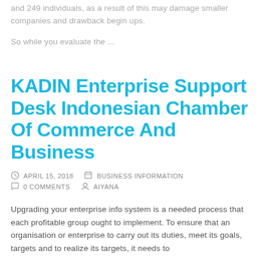and 249 individuals, as a result of this may damage smaller companies and drawback begin ups.
So while you evaluate the ...
KADIN Enterprise Support Desk Indonesian Chamber Of Commerce And Business
APRIL 15, 2018   BUSINESS INFORMATION   0 COMMENTS   AIYANA
Upgrading your enterprise info system is a needed process that each profitable group ought to implement. To ensure that an organisation or enterprise to carry out its duties, meet its goals, targets and to realize its targets, it needs to